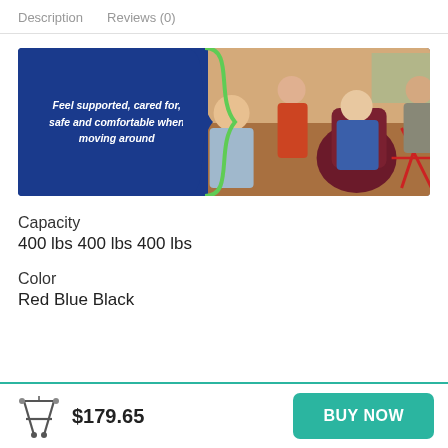Description   Reviews (0)
[Figure (photo): Banner image showing elderly people in a care setting. Left side is a dark blue background with italic white text reading 'Feel supported, cared for, safe and comfortable when moving around'. A green wave divider separates the blue panel from a photo of smiling elderly people seated and interacting with a caregiver.]
Capacity
400 lbs 400 lbs 400 lbs
Color
Red Blue Black
$179.65   BUY NOW